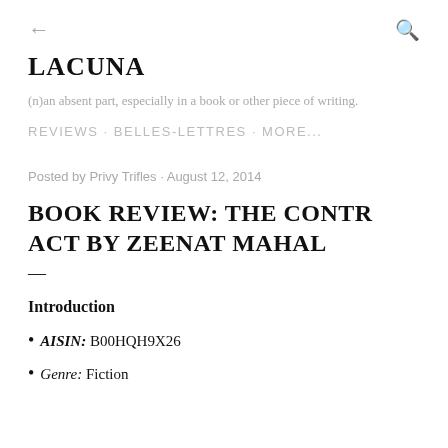← LACUNA Q
LACUNA
(n)an absent part, especially in a book or other piece of writing.
REVIEWS · BELLES-LETTRES · MORE...
Posted by Privy Trifles · August 12, 2014
BOOK REVIEW: THE CONTRACT BY ZEENAT MAHAL
—
Introduction
AISIN: B00HQH9X26
Genre: Fiction